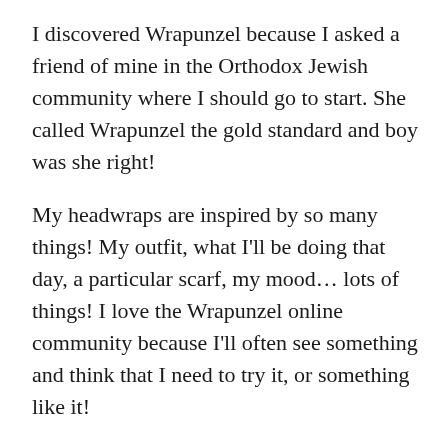I discovered Wrapunzel because I asked a friend of mine in the Orthodox Jewish community where I should go to start. She called Wrapunzel the gold standard and boy was she right!
My headwraps are inspired by so many things! My outfit, what I'll be doing that day, a particular scarf, my mood… lots of things! I love the Wrapunzel online community because I'll often see something and think that I need to try it, or something like it!
My tichel is often reflective of my mood. I've always been a creative person and I've found that, like my artwork, so much of my wrapping is dependent on mood. When I'm down, it's usually a lot more simple. I